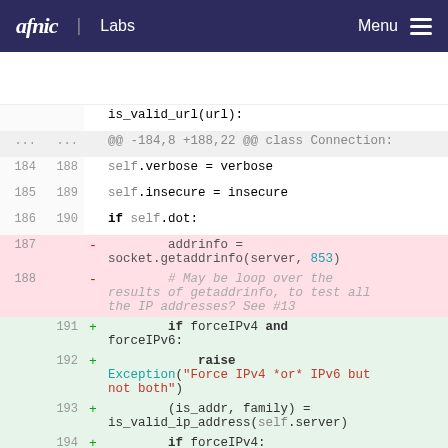afnic Labs  Menu
[Figure (screenshot): Code diff view showing Python file changes. Lines 184-195 shown. Removed lines (187-188): addrinfo = socket.getaddrinfo(server, 853) and a comment about looping over results. Added lines (191-195): forceIPv4 and forceIPv6 check, raise Exception, is_valid_ip_address call, if forceIPv4, if is_addr and.]